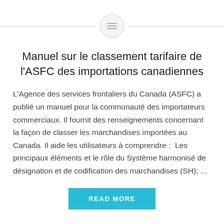[Figure (logo): Decorative icon circle with horizontal lines on either side, containing a text/menu icon (three lines) in the center.]
Manuel sur le classement tarifaire de l'ASFC des importations canadiennes
L'Agence des services frontaliers du Canada (ASFC) a publié un manuel pour la communauté des importateurs commerciaux. Il fournit des renseignements concernant la façon de classer les marchandises importées au Canada. Il aide les utilisateurs à comprendre :  Les principaux éléments et le rôle du Système harmonisé de désignation et de codification des marchandises (SH); ...
READ MORE